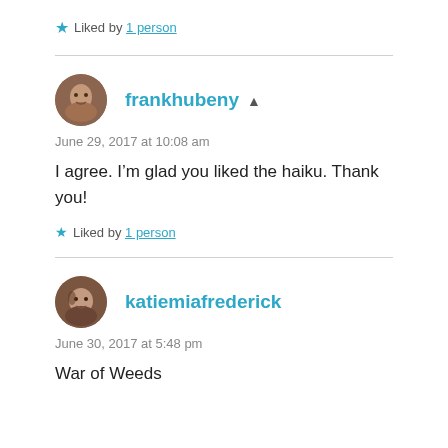★ Liked by 1 person
frankhubeny ▲
June 29, 2017 at 10:08 am
I agree. I'm glad you liked the haiku. Thank you!
★ Liked by 1 person
katiemiafrederick
June 30, 2017 at 5:48 pm
War of Weeds